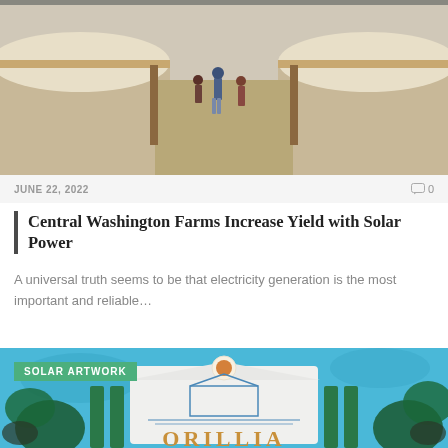[Figure (photo): Photograph of two large yurt-style tent structures with people walking between them on a dirt path. Brown fabric walls and light-colored canopy tops are visible.]
JUNE 22, 2022
0
Central Washington Farms Increase Yield with Solar Power
A universal truth seems to be that electricity generation is the most important and reliable…
[Figure (photo): Photo of a colorful mural featuring a painted sign that reads 'ORILLIA' with a sun motif above a building silhouette, set against a bright blue painted background with green foliage. A green badge overlay reads 'SOLAR ARTWORK'.]